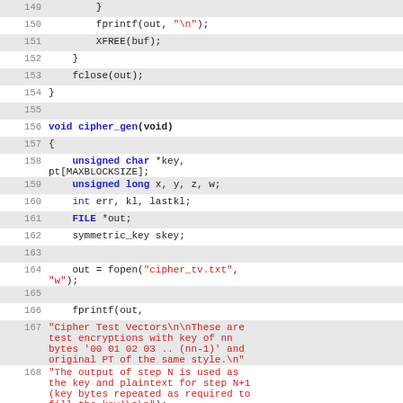Code listing lines 149-169 showing C source code for cipher_gen function
[Figure (screenshot): Source code listing with line numbers 149-169 showing C code including cipher_gen(void) function definition with variable declarations and fopen/fprintf calls]